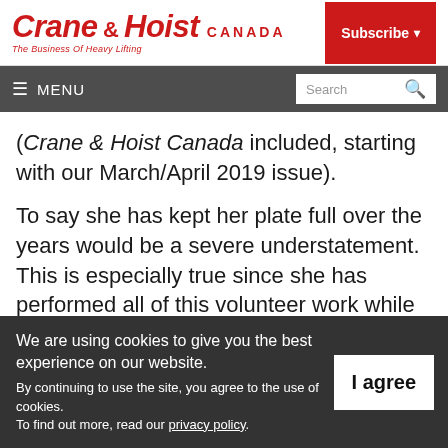Crane & Hoist Canada — The Business Of Heavy Lifting
(Crane & Hoist Canada included, starting with our March/April 2019 issue).
To say she has kept her plate full over the years would be a severe understatement. This is especially true since she has performed all of this volunteer work while running the All
We are using cookies to give you the best experience on our website.
By continuing to use the site, you agree to the use of cookies.
To find out more, read our privacy policy.